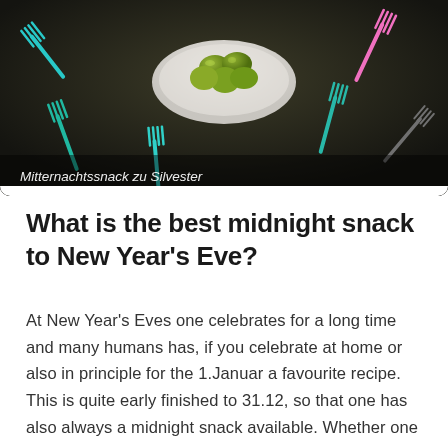[Figure (photo): Photo of a bowl of green olives on a dark surface with colorful cocktail forks (cyan, pink, teal) scattered around it. Caption overlay reads 'Mitternachtssnack zu Silvester'.]
Mitternachtssnack zu Silvester
What is the best midnight snack to New Year's Eve?
At New Year's Eves one celebrates for a long time and many humans has, if you celebrate at home or also in principle for the 1.Januar a favourite recipe. This is quite early finished to 31.12, so that one has also always a midnight snack available. Whether one would like to then satisfy alone its small hunger or whether one would like to serve still to guests somewhat. The chopping roast is meant, for which there are many different recipes. It is in such a way likes, because he quasi bake himself and because he tastes simply very more delicious. One can eat it hot and coldly, thus is